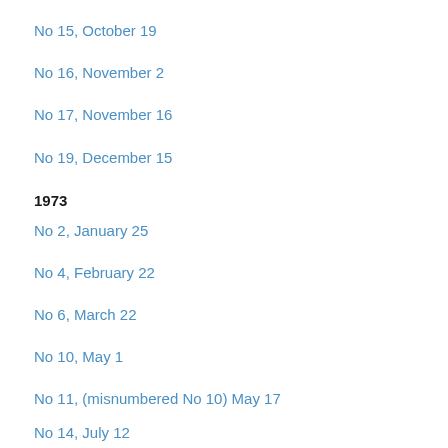No 15, October 19
No 16, November 2
No 17, November 16
No 19, December 15
1973
No 2, January 25
No 4, February 22
No 6, March 22
No 10, May 1
No 11, (misnumbered No 10) May 17
No 14, July 12